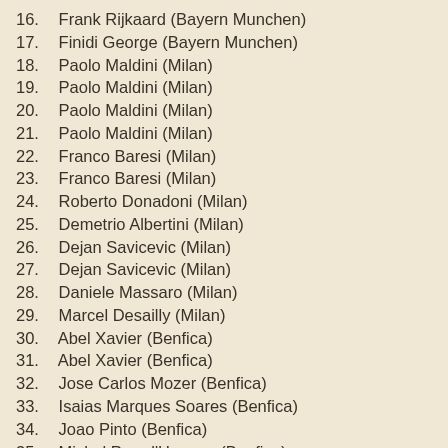16.  Frank Rijkaard (Bayern Munchen)
17.  Finidi George (Bayern Munchen)
18.  Paolo Maldini (Milan)
19.  Paolo Maldini (Milan)
20.  Paolo Maldini (Milan)
21.  Paolo Maldini (Milan)
22.  Franco Baresi (Milan)
23.  Franco Baresi (Milan)
24.  Roberto Donadoni (Milan)
25.  Demetrio Albertini (Milan)
26.  Dejan Savicevic (Milan)
27.  Dejan Savicevic (Milan)
28.  Daniele Massaro (Milan)
29.  Marcel Desailly (Milan)
30.  Abel Xavier (Benfica)
31.  Abel Xavier (Benfica)
32.  Jose Carlos Mozer (Benfica)
33.  Isaias Marques Soares (Benfica)
34.  Joao Pinto (Benfica)
35.  Michel Preud'Homme (Benfica)
36.  Michel Preud'Homme (Benfica)
37.  Caludio Caniggia (Benfica)